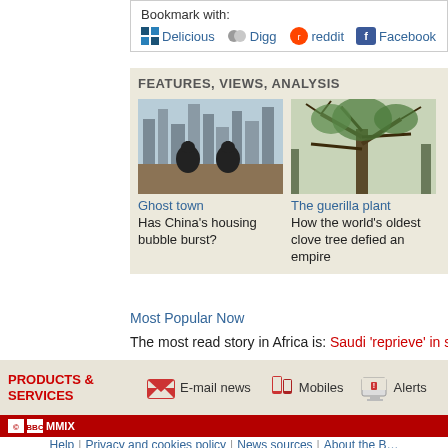Bookmark with:
Delicious | Digg | reddit | Facebook | S...
FEATURES, VIEWS, ANALYSIS
[Figure (photo): Ghost town - horse statues silhouette against city skyline]
Ghost town
Has China's housing bubble burst?
[Figure (photo): The guerilla plant - old clove tree with bare branches]
The guerilla plant
How the world's oldest clove tree defied an empire
Most Popular Now
The most read story in Africa is: Saudi 'reprieve' in sorcery c...
PRODUCTS & SERVICES
E-mail news
Mobiles
Alerts
© BBC MMIX
Help | Privacy and cookies policy | News sources | About the B...